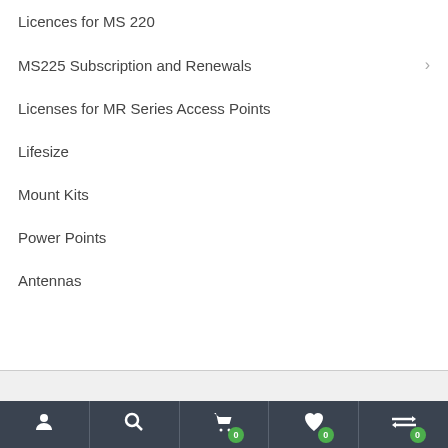Licences for MS 220
MS225 Subscription and Renewals
Licenses for MR Series Access Points
Lifesize
Mount Kits
Power Points
Antennas
[Figure (screenshot): Bottom navigation bar with five icons: user/account, search, shopping cart with badge 0, heart/wishlist with badge 0, and compare/arrows with badge 0, on a dark background]